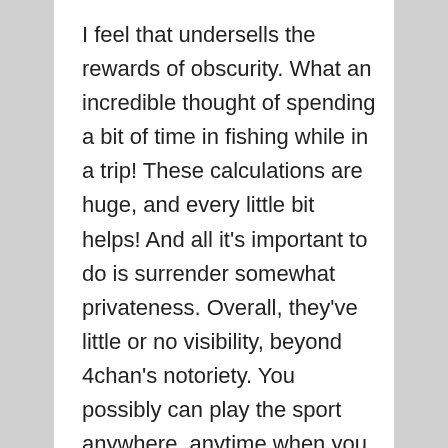I feel that undersells the rewards of obscurity. What an incredible thought of spending a bit of time in fishing while in a trip! These calculations are huge, and every little bit helps! And all it's important to do is surrender somewhat privateness. Overall, they've little or no visibility, beyond 4chan's notoriety. You possibly can play the sport anywhere, anytime when you have internet entry. Usually, your laptop will never be idle, but we've had such an enthusiastic response to our COVID-19 work that you will see some intermittent downtime as we dash to setup extra simulations. I dimly recall one platform —was it Hootsuite? But you could stand to